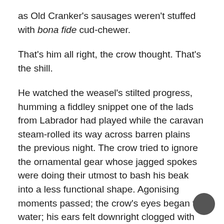as Old Cranker's sausages weren't stuffed with bona fide cud-chewer.
That's him all right, the crow thought. That's the shill.
He watched the weasel's stilted progress, humming a fiddley snippet one of the lads from Labrador had played while the caravan steam-rolled its way across barren plains the previous night. The crow tried to ignore the ornamental gear whose jagged spokes were doing their utmost to bash his beak into a less functional shape. Agonising moments passed; the crow's eyes began to water; his ears felt downright clogged with the midway's hubbub. Finally, the weasel stepped up and placed his grimy paws on the footprints Marx had painted on the